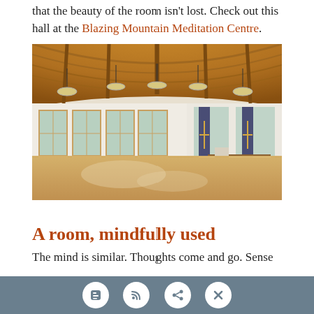that the beauty of the room isn't lost. Check out this hall at the Blazing Mountain Meditation Centre.
[Figure (photo): Interior of a large meditation hall with arched wooden ceiling, hanging pendant lights, multiple windows with natural light, hardwood floor, and a raised platform area with plants and decorative banners.]
A room, mindfully used
The mind is similar. Thoughts come and go. Sense
social sharing icons: blogger, rss, share, close